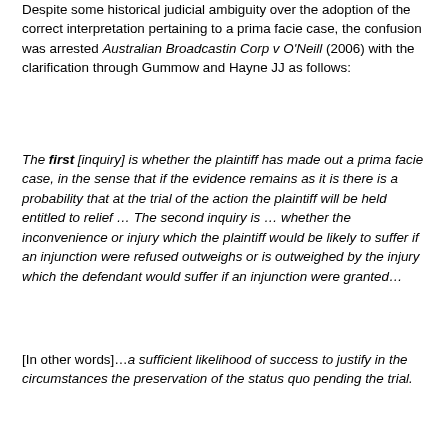Despite some historical judicial ambiguity over the adoption of the correct interpretation pertaining to a prima facie case, the confusion was arrested Australian Broadcastin Corp v O'Neill (2006) with the clarification through Gummow and Hayne JJ as follows:
The first [inquiry] is whether the plaintiff has made out a prima facie case, in the sense that if the evidence remains as it is there is a probability that at the trial of the action the plaintiff will be held entitled to relief … The second inquiry is … whether the inconvenience or injury which the plaintiff would be likely to suffer if an injunction were refused outweighs or is outweighed by the injury which the defendant would suffer if an injunction were granted…
[In other words]…a sufficient likelihood of success to justify in the circumstances the preservation of the status quo pending the trial.